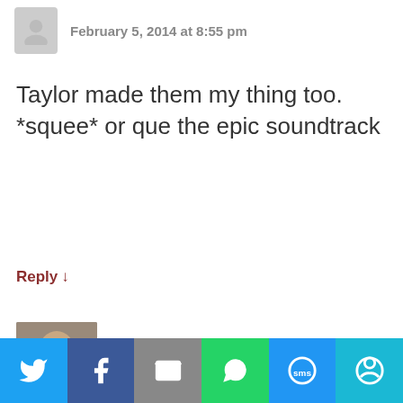February 5, 2014 at 8:55 pm
Taylor made them my thing too. *squee* or que the epic soundtrack
Reply ↓
Kelly
February 5, 2014 at 7:49 pm
So happy to see that you liked
[Figure (infographic): Social share bar with icons: Twitter (blue), Facebook (dark blue), Email (gray), WhatsApp (green), SMS (blue), More (teal)]